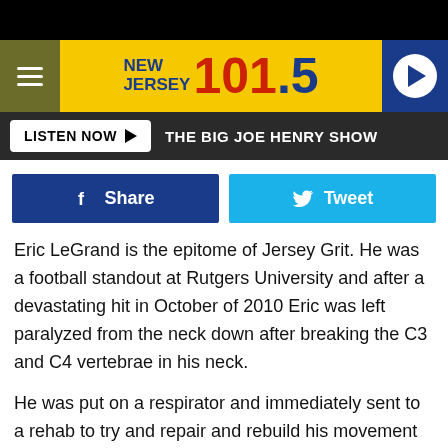[Figure (logo): New Jersey 101.5 radio station logo and navigation header bar with hamburger menu, yellow banner, and play button]
LISTEN NOW ▶  THE BIG JOE HENRY SHOW
[Figure (other): Facebook Share button and Twitter Tweet button social share row]
Eric LeGrand is the epitome of Jersey Grit. He was a football standout at Rutgers University and after a devastating hit in October of 2010 Eric was left paralyzed from the neck down after breaking the C3 and C4 vertebrae in his neck.
He was put on a respirator and immediately sent to a rehab to try and repair and rebuild his movement and neck. Eric was relentless in working at his therapy and all through his initial recovery never gave up and at least on the outside, always portrayed a positive demeanor and attitude. Eric